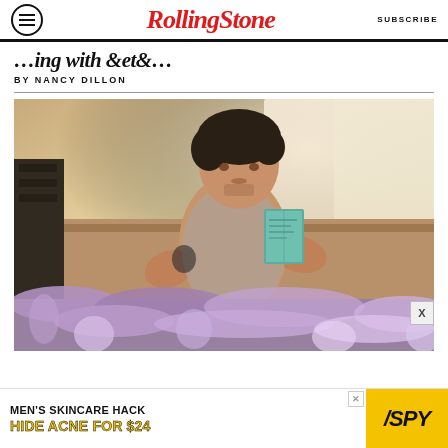RollingStone | SUBSCRIBE
…ing with Between (partial title)
BY NANCY DILLON
[Figure (photo): A young man with dark wavy hair reclines on a sofa holding a small teal book, wearing a sleeveless knit top with visible tattoos; a fluffy purple/lavender rug or throw is in the foreground; sheer curtains and warm natural light in background.]
[Figure (other): Advertisement banner: MEN'S SKINCARE HACK / HIDE ACNE FOR $24 with SPY logo on yellow background]